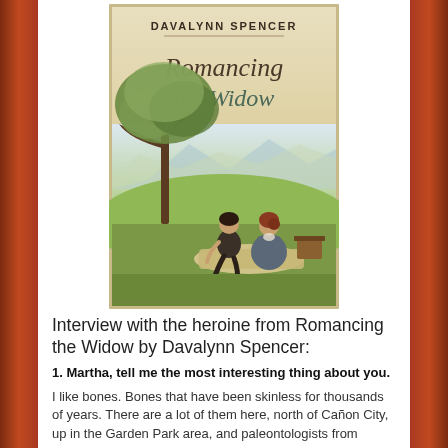[Figure (illustration): Book cover of 'Romancing the Widow' by Davalynn Spencer. Shows a man and woman sitting on a blanket under a tree in a pastoral landscape with rolling green hills and mountains in the background. The cover has cream/parchment tones. Author name 'DAVALYNN SPENCER' at top, title 'Romancing the Widow' in cursive script below.]
Interview with the heroine from Romancing the Widow by Davalynn Spencer:
1. Martha, tell me the most interesting thing about you.
I like bones. Bones that have been skinless for thousands of years. There are a lot of them here, north of Cañon City, up in the Garden Park area, and paleontologists from eastern universities are fighting over who gets to display them. A pity, really, that the fossils can't stay right here. Like me. Dried up and no good for the living. But I digress ...